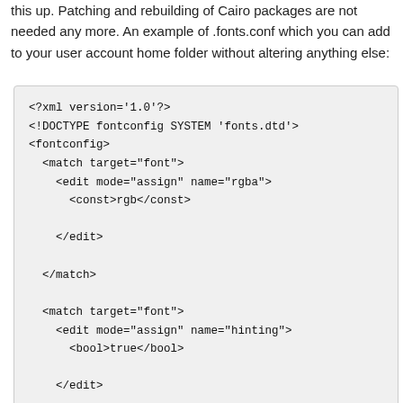this up. Patching and rebuilding of Cairo packages are not needed any more. An example of .fonts.conf which you can add to your user account home folder without altering anything else:
<?xml version='1.0'?>
<!DOCTYPE fontconfig SYSTEM 'fonts.dtd'>
<fontconfig>
  <match target="font">
    <edit mode="assign" name="rgba">
      <const>rgb</const>
    </edit>
  </match>
  <match target="font">
    <edit mode="assign" name="hinting">
      <bool>true</bool>
    </edit>
  </match>
  </match>